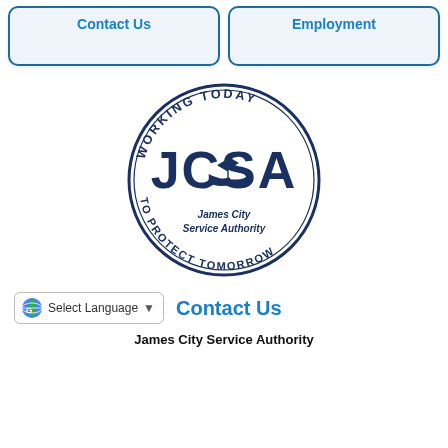Contact Us
Employment
[Figure (logo): James City Service Authority circular logo with text 'WORKING TODAY TO PROTECT TOMORROW' around the border and 'JCSA James City Service Authority' in the center with a sailing ship illustration]
Select Language
Contact Us
James City Service Authority